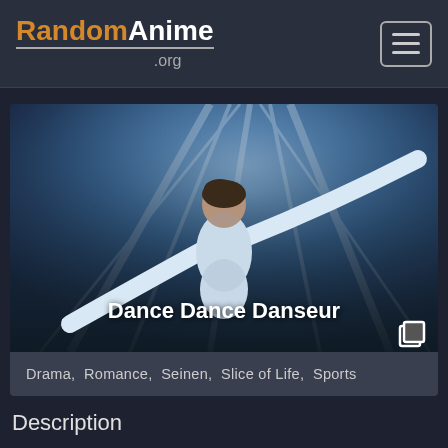RandomAnime.org
[Figure (screenshot): Anime screenshot showing a ballet dancer from behind with arms outstretched against a blue background with light rays. Title 'Dance Dance Danseur' overlaid in white bold text.]
Drama,  Romance,  Seinen,  Slice of Life,  Sports
Description